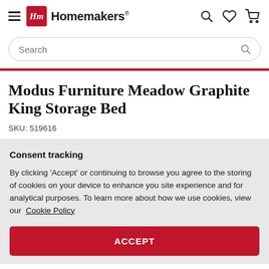Homemakers
Modus Furniture Meadow Graphite King Storage Bed
SKU: 519616
Consent tracking
By clicking 'Accept' or continuing to browse you agree to the storing of cookies on your device to enhance you site experience and for analytical purposes. To learn more about how we use cookies, view our Cookie Policy
ACCEPT